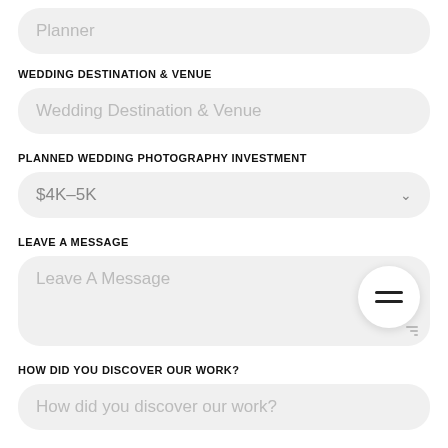Planner
WEDDING DESTINATION & VENUE
Wedding Destination & Venue
PLANNED WEDDING PHOTOGRAPHY INVESTMENT
$4K–5K
LEAVE A MESSAGE
Leave A Message
HOW DID YOU DISCOVER OUR WORK?
How did you discover our work?